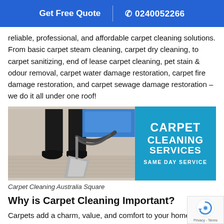Get Free Quote | ☎ 0240052266
reliable, professional, and affordable carpet cleaning solutions. From basic carpet steam cleaning, carpet dry cleaning, to carpet sanitizing, end of lease carpet cleaning, pet stain & odour removal, carpet water damage restoration, carpet fire damage restoration, and carpet sewage damage restoration – we do it all under one roof!
[Figure (photo): Left: A person steam-cleaning a carpet with a commercial machine. Right: Blue promotional panel reading CARPET CLEANING SERVICES SAME DAY SERVICE]
Carpet Cleaning Australia Square
Why is Carpet Cleaning Important?
Carpets add a charm, value, and comfort to your home. It is on the most essential and valuable parts of that serves you the m... addition to being the most functional things, they are the targeted